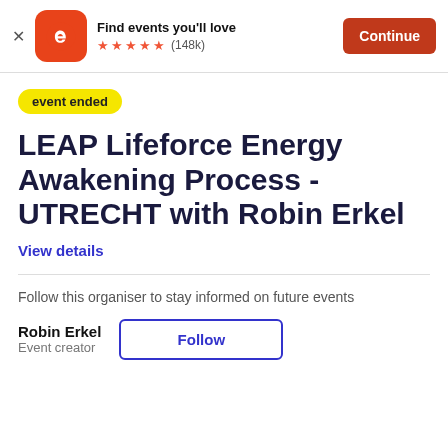[Figure (screenshot): Eventbrite app banner with orange logo icon showing stylized 'e', tagline 'Find events you'll love', five orange stars rating with (148k) reviews, and an orange 'Continue' button]
event ended
LEAP Lifeforce Energy Awakening Process - UTRECHT with Robin Erkel
View details
Follow this organiser to stay informed on future events
Robin Erkel
Event creator
Follow